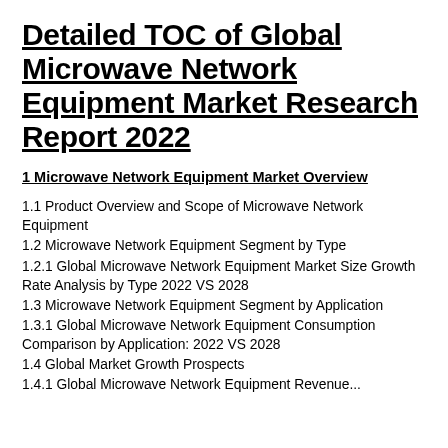Detailed TOC of Global Microwave Network Equipment Market Research Report 2022
1 Microwave Network Equipment Market Overview
1.1 Product Overview and Scope of Microwave Network Equipment
1.2 Microwave Network Equipment Segment by Type
1.2.1 Global Microwave Network Equipment Market Size Growth Rate Analysis by Type 2022 VS 2028
1.3 Microwave Network Equipment Segment by Application
1.3.1 Global Microwave Network Equipment Consumption Comparison by Application: 2022 VS 2028
1.4 Global Market Growth Prospects
1.4.1 Global Microwave Network Equipment Revenue...